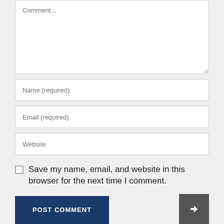Comment...
Name (required)
Email (required)
Website
Save my name, email, and website in this browser for the next time I comment.
POST COMMENT